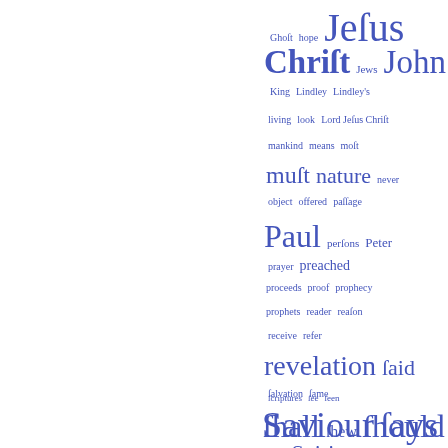[Figure (infographic): Word cloud featuring religious and theological terms in varying sizes, rendered in blue on white background. Larger words include Jesus, Christ, John, Paul, revelation, Saviour, says, shall, should, Spirit. Smaller words include Ghost, hope, Jews, King, Lindsey, Lindley's, living, look, Lord Jesus Christ, mankind, means, most, must, nature, never, object, offered, passage, persons, Peter, prayer, preached, proceeds, proof, prophecy, prophets, reader, reason, receive, refer, said, salvation, same, scriptures, see, seen, shew, speak, spoken, stand.]